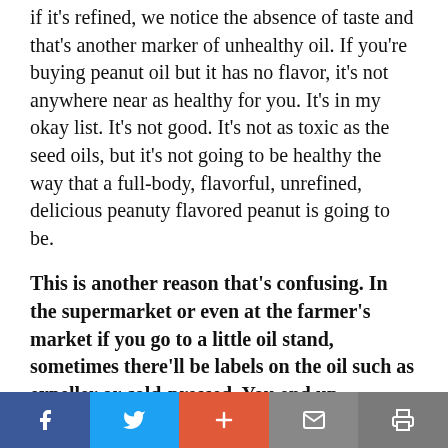if it's refined, we notice the absence of taste and that's another marker of unhealthy oil. If you're buying peanut oil but it has no flavor, it's not anywhere near as healthy for you. It's in my okay list. It's not good. It's not as toxic as the seed oils, but it's not going to be healthy the way that a full-body, flavorful, unrefined, delicious peanuty flavored peanut is going to be.
This is another reason that's confusing. In the supermarket or even at the farmer's market if you go to a little oil stand, sometimes there'll be labels on the oil such as expeller or cold-pressed. You end up
Facebook | Twitter | + | Mail | Print